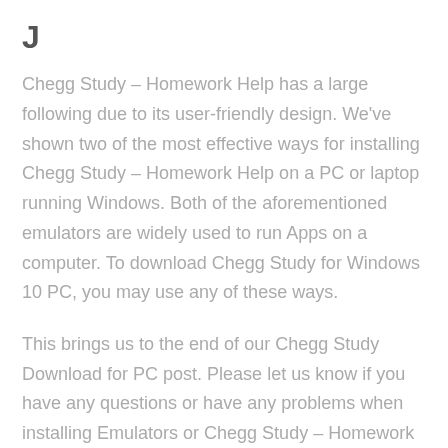J
Chegg Study – Homework Help has a large following due to its user-friendly design. We've shown two of the most effective ways for installing Chegg Study – Homework Help on a PC or laptop running Windows. Both of the aforementioned emulators are widely used to run Apps on a computer. To download Chegg Study for Windows 10 PC, you may use any of these ways.
This brings us to the end of our Chegg Study Download for PC post. Please let us know if you have any questions or have any problems when installing Emulators or Chegg Study – Homework Help for Windows in the comments section. We'll be happy to assist you!